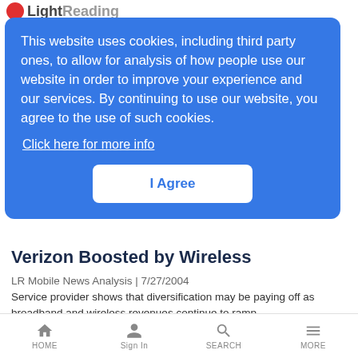Light Reading
This website uses cookies, including third party ones, to allow for analysis of how people use our website in order to improve your experience and our services. By continuing to use our website, you agree to the use of such cookies.
Click here for more info
I Agree
Verizon Boosted by Wireless
LR Mobile News Analysis | 7/27/2004
Service provider shows that diversification may be paying off as broadband and wireless revenues continue to ramp
HOME   Sign In   SEARCH   MORE